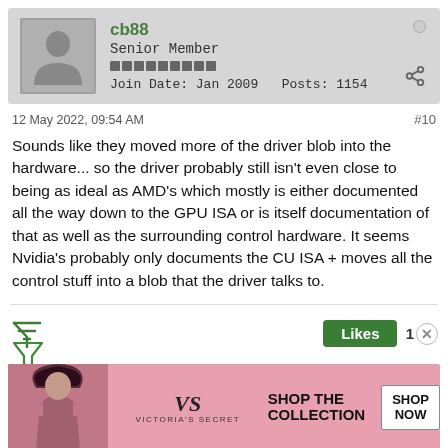cb88 Senior Member Join Date: Jan 2009 Posts: 1154
12 May 2022, 09:54 AM
#10
Sounds like they moved more of the driver blob into the hardware... so the driver probably still isn't even close to being as ideal as AMD's which mostly is either documented all the way down to the GPU ISA or is itself documentation of that as well as the surrounding control hardware. It seems Nvidia's probably only documents the CU ISA + moves all the control stuff into a blob that the driver talks to.
[Figure (infographic): Green filter/funnel icon on the left; green Likes button and '1 x' count with circle on the right]
[Figure (infographic): Victoria's Secret advertisement banner with pink background, woman photo, VS logo, SHOP THE COLLECTION text, and SHOP NOW button]